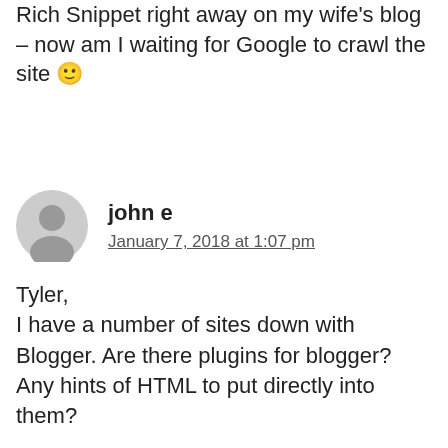Rich Snippet right away on my wife's blog – now am I waiting for Google to crawl the site 🙂
john e
January 7, 2018 at 1:07 pm
Tyler,
I have a number of sites down with Blogger. Are there plugins for blogger? Any hints of HTML to put directly into them?

For instance, I'd like to optimize a post for search.